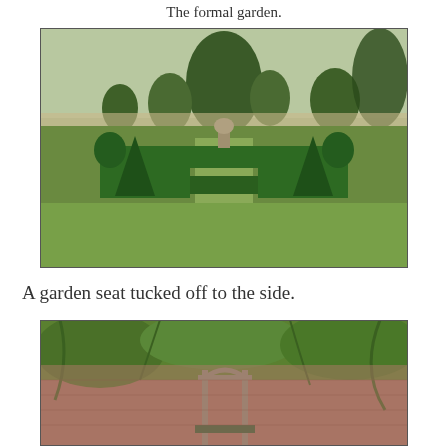The formal garden.
[Figure (photo): A formal garden with symmetrical clipped topiary hedges in geometric patterns, cone and dome shaped bushes, a central ornament, and tall trees in the background under an overcast sky.]
A garden seat tucked off to the side.
[Figure (photo): A garden seat tucked against a brick wall, with an arched wooden pergola/arbour structure, surrounded by overhanging trees and climbing plants.]